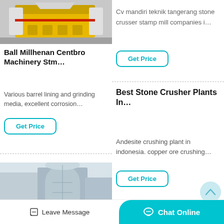[Figure (photo): Yellow and white stone crusher machine (industrial equipment) on a grey surface]
Ball Millhenan Centbro Machinery Stm…
Various barrel lining and grinding media, excellent corrosion…
Get Price
Cv mandiri teknik tangerang stone crusser stamp mill companies i…
Get Price
Best Stone Crusher Plants In…
Andesite crushing plant in indonesia. copper ore crushing…
Get Price
[Figure (photo): Industrial grinding plant or mill equipment, partially visible at bottom left]
Hamlin Grinding Pl…
Leave Message   Chat Online